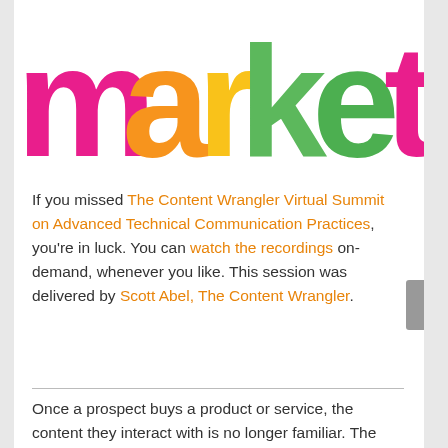[Figure (logo): Colorful 'marketing' logo text with each letter in a different color: pink, orange, yellow, green, dark green, pink, blue, green, blue]
If you missed The Content Wrangler Virtual Summit on Advanced Technical Communication Practices, you're in luck. You can watch the recordings on-demand, whenever you like. This session was delivered by Scott Abel, The Content Wrangler.
Once a prospect buys a product or service, the content they interact with is no longer familiar. The instructions provided don't look, feel, or sound anything like the marketing and sales materials that introduced them to your brand. Neither does the service contract, the warranty, the customer support website, the product documentation, nor the training materials.